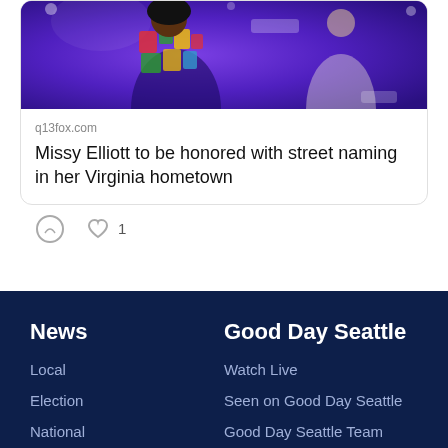[Figure (photo): Concert photo of Missy Elliott performing in a colorful outfit on a purple-lit stage]
q13fox.com
Missy Elliott to be honored with street naming in her Virginia hometown
Comment and Like icons with count: 1
News
Local
Election
National
World
Get the FOX 13 News App
Good Day Seattle
Watch Live
Seen on Good Day Seattle
Good Day Seattle Team
Links You Saw on TV
Closures & Delays